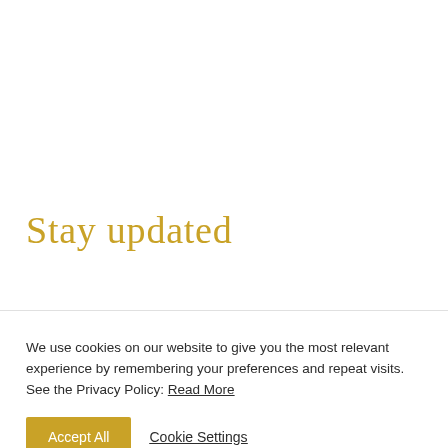Stay updated
We use cookies on our website to give you the most relevant experience by remembering your preferences and repeat visits.
See the Privacy Policy: Read More
Accept All   Cookie Settings